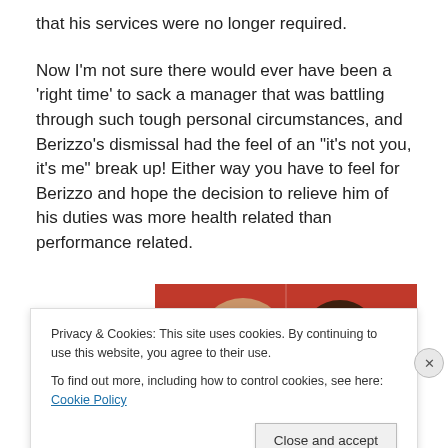that his services were no longer required.
Now I'm not sure there would ever have been a 'right time' to sack a manager that was battling through such tough personal circumstances, and Berizzo's dismissal had the feel of an "it's not you, it's me" break up! Either way you have to feel for Berizzo and hope the decision to relieve him of his duties was more health related than performance related.
[Figure (photo): Photo showing two people at a press conference backdrop with sponsors including PlayWSOP, CaixaBank, PRO2250, and LaLiga logos on a red background.]
Privacy & Cookies: This site uses cookies. By continuing to use this website, you agree to their use.
To find out more, including how to control cookies, see here: Cookie Policy